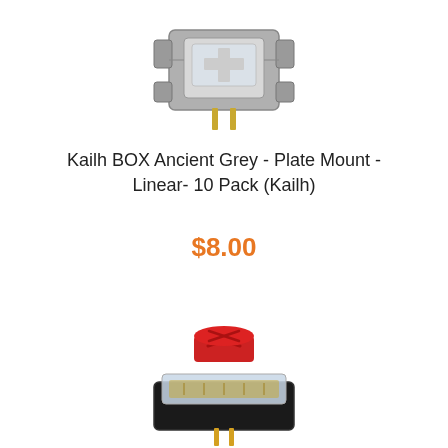[Figure (photo): Kailh BOX Ancient Grey keyboard switch, grey/silver translucent housing, plate mount style, viewed from above-front angle]
Kailh BOX Ancient Grey - Plate Mount - Linear- 10 Pack (Kailh)
$8.00
[Figure (photo): Keyboard switch with red cylindrical stem/top and transparent housing with black base, gold pins visible at bottom, viewed from front-top angle]